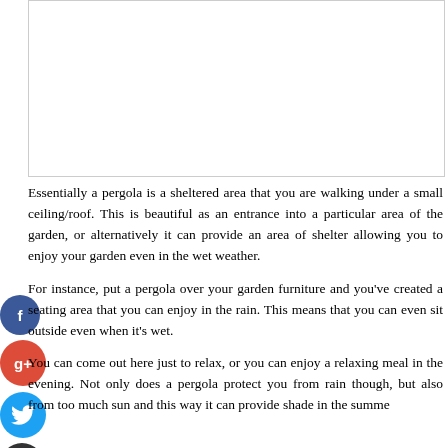[Figure (photo): White blank image area at top of page]
Essentially a pergola is a sheltered area that you are walking under a small ceiling/roof. This is beautiful as an entrance into a particular area of the garden, or alternatively it can provide an area of shelter allowing you to enjoy your garden even in the wet weather.
For instance, put a pergola over your garden furniture and you've created a seating area that you can enjoy in the rain. This means that you can even sit outside even when it's wet.
You can come out here just to relax, or you can enjoy a relaxing meal in the evening. Not only does a pergola protect you from rain though, but also from too much sun and this way it can provide shade in the summer